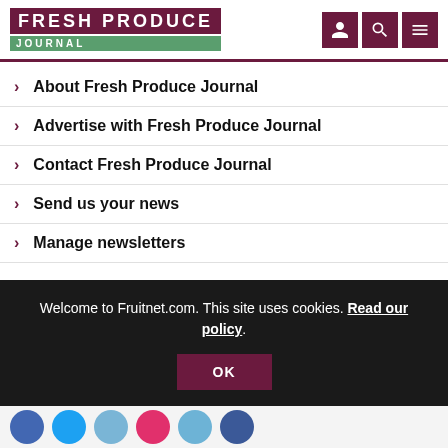FRESH PRODUCE JOURNAL
About Fresh Produce Journal
Advertise with Fresh Produce Journal
Contact Fresh Produce Journal
Send us your news
Manage newsletters
Welcome to Fruitnet.com. This site uses cookies. Read our policy.
OK